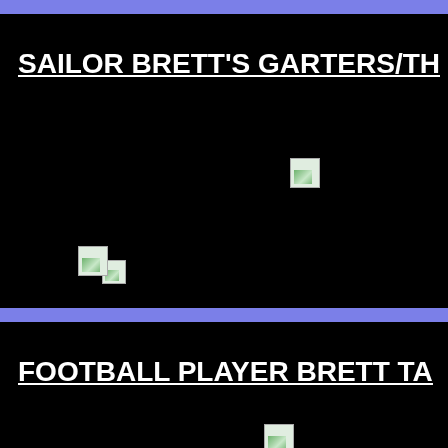SAILOR BRETT'S GARTERS/TH
[Figure (photo): Broken/missing image placeholder (small, upper right area)]
[Figure (photo): Broken/missing image placeholders (two overlapping, left-center area)]
FOOTBALL PLAYER BRETT TA
[Figure (photo): Broken/missing image placeholder (bottom center)]